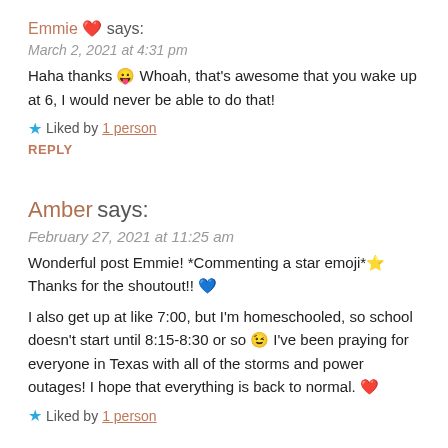Emmie ❤️ says:
March 2, 2021 at 4:31 pm
Haha thanks 😛 Whoah, that's awesome that you wake up at 6, I would never be able to do that!
★ Liked by 1 person
REPLY
Amber says:
February 27, 2021 at 11:25 am
Wonderful post Emmie! *Commenting a star emoji* ⭐ Thanks for the shoutout!! 💙
I also get up at like 7:00, but I'm homeschooled, so school doesn't start until 8:15-8:30 or so 😉 I've been praying for everyone in Texas with all of the storms and power outages! I hope that everything is back to normal. ❤️
★ Liked by 1 person